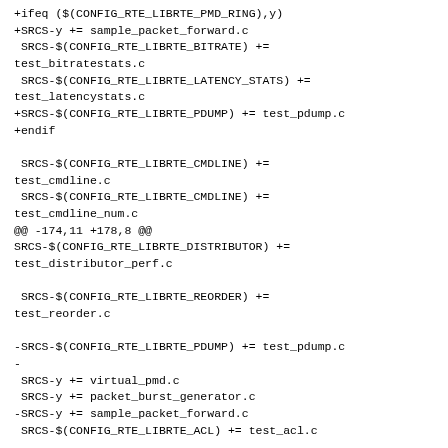+ifeq ($(CONFIG_RTE_LIBRTE_PMD_RING),y)
+SRCS-y += sample_packet_forward.c
 SRCS-$(CONFIG_RTE_LIBRTE_BITRATE) +=
test_bitratestats.c
 SRCS-$(CONFIG_RTE_LIBRTE_LATENCY_STATS) +=
test_latencystats.c
+SRCS-$(CONFIG_RTE_LIBRTE_PDUMP) += test_pdump.c
+endif

 SRCS-$(CONFIG_RTE_LIBRTE_CMDLINE) +=
test_cmdline.c
 SRCS-$(CONFIG_RTE_LIBRTE_CMDLINE) +=
test_cmdline_num.c
@@ -174,11 +178,8 @@
SRCS-$(CONFIG_RTE_LIBRTE_DISTRIBUTOR) +=
test_distributor_perf.c

 SRCS-$(CONFIG_RTE_LIBRTE_REORDER) +=
test_reorder.c

-SRCS-$(CONFIG_RTE_LIBRTE_PDUMP) += test_pdump.c
-
 SRCS-y += virtual_pmd.c
 SRCS-y += packet_burst_generator.c
-SRCS-y += sample_packet_forward.c
 SRCS-$(CONFIG_RTE_LIBRTE_ACL) += test_acl.c

 ifeq ($(CONFIG_RTE_LIBRTE_PMD_RING),y)
@@ -208,7 +209,7 @@ ifeq